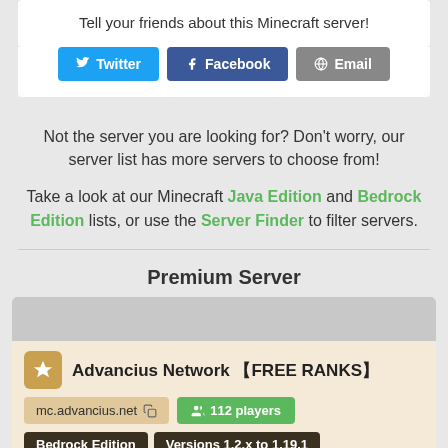Tell your friends about this Minecraft server!
[Figure (screenshot): Social share buttons: Twitter, Facebook, Email]
Not the server you are looking for? Don't worry, our server list has more servers to choose from!
Take a look at our Minecraft Java Edition and Bedrock Edition lists, or use the Server Finder to filter servers.
Premium Server
[Figure (screenshot): Advancius Network server card with banner, address mc.advancius.net, 112 players, Bedrock Edition, Versions 1.2.x to 1.19.1, tags: Creative, Factions, Prison, PvP, SkyBlock, Survival]